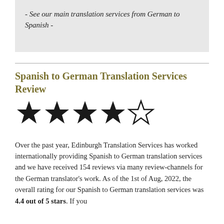- See our main translation services from German to Spanish -
Spanish to German Translation Services Review
[Figure (other): Star rating graphic showing 4 filled black stars and 1 empty (outline) star, representing a 4.4 out of 5 star rating]
Over the past year, Edinburgh Translation Services has worked internationally providing Spanish to German translation services and we have received 154 reviews via many review-channels for the German translator's work. As of the 1st of Aug, 2022, the overall rating for our Spanish to German translation services was 4.4 out of 5 stars. If you